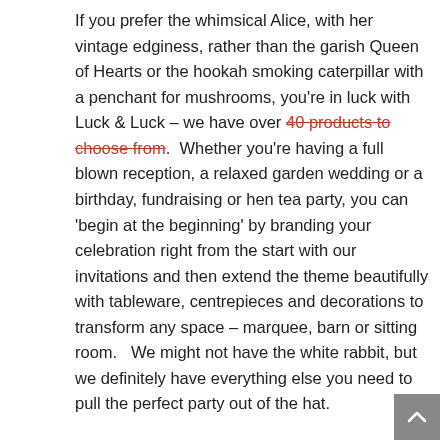If you prefer the whimsical Alice, with her vintage edginess, rather than the garish Queen of Hearts or the hookah smoking caterpillar with a penchant for mushrooms, you're in luck with Luck & Luck – we have over 40 products to choose from.  Whether you're having a full blown reception, a relaxed garden wedding or a birthday, fundraising or hen tea party, you can 'begin at the beginning' by branding your celebration right from the start with our invitations and then extend the theme beautifully with tableware, centrepieces and decorations to transform any space – marquee, barn or sitting room.   We might not have the white rabbit, but we definitely have everything else you need to pull the perfect party out of the hat.